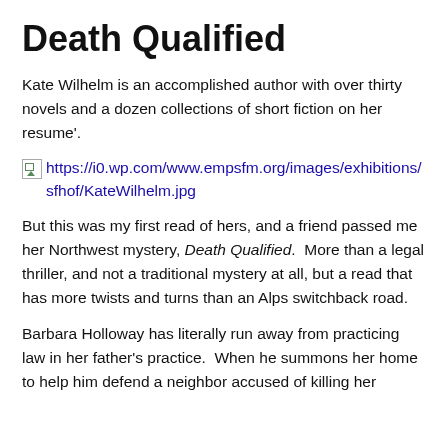Death Qualified
Kate Wilhelm is an accomplished author with over thirty novels and a dozen collections of short fiction on her resume'.
[Figure (photo): Broken image placeholder with URL: https://i0.wp.com/www.empsfm.org/images/exhibitions/sfhof/KateWilhelm.jpg]
But this was my first read of hers, and a friend passed me her Northwest mystery, Death Qualified.  More than a legal thriller, and not a traditional mystery at all, but a read that has more twists and turns than an Alps switchback road.
Barbara Holloway has literally run away from practicing law in her father's practice.  When he summons her home to help him defend a neighbor accused of killing her